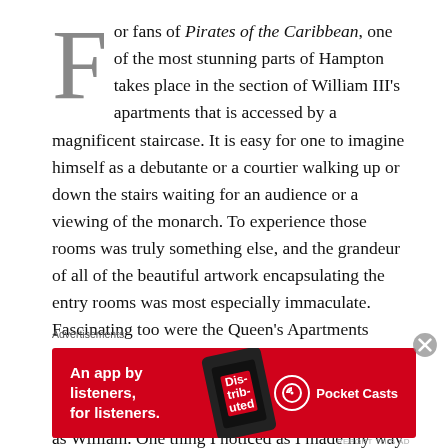For fans of Pirates of the Caribbean, one of the most stunning parts of Hampton takes place in the section of William III's apartments that is accessed by a magnificent staircase. It is easy for one to imagine himself as a debutante or a courtier walking up or down the stairs waiting for an audience or a viewing of the monarch. To experience those rooms was truly something else, and the grandeur of all of the beautiful artwork encapsulating the entry rooms was most especially immaculate. Fascinating too were the Queen's Apartments adjacent to William's that were designed just as the King's in grandeur to indicate that Mary was equal parts crowned monarch and of the same authority as William. One thing I noticed as I made my way from the public chambers into
Advertisements
[Figure (other): Advertisement banner for Pocket Casts app in red with text 'An app by listeners, for listeners.' and a phone showing 'Distributed' app cover]